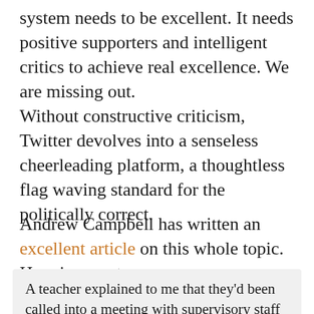system needs to be excellent. It needs positive supporters and intelligent critics to achieve real excellence. We are missing out.
Without constructive criticism, Twitter devolves into a senseless cheerleading platform, a thoughtless flag waving standard for the politically correct.
Andrew Campbell has written an excellent article on this whole topic. Here is a quote:
A teacher explained to me that they'd been called into a meeting with supervisory staff and asked to defend a tweet they'd made about a board policy,